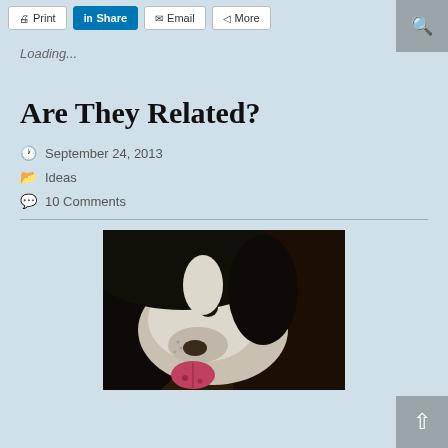Print | Share | Email | More | [Search icon]
Loading...
Are They Related?
September 24, 2013
Ideas
10 Comments
[Figure (photo): Close-up photograph of a black and white Border Collie dog looking upward with its mouth open and tongue visible.]